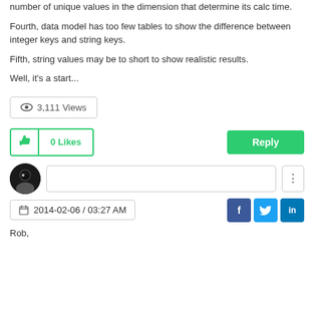number of unique values in the dimension that determine its calc time.
Fourth, data model has too few tables to show the difference between integer keys and string keys.
Fifth, string values may be to short to show realistic results.
Well, it's a start...
3,111 Views
0 Likes
Reply
2014-02-06 / 03:27 AM
Rob,